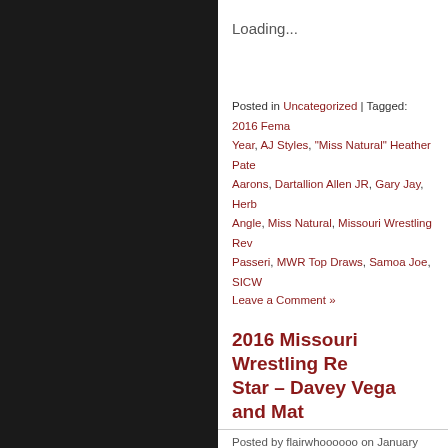Loading...
Posted in Uncategorized | Tagged: 2016 Female of the Year, AJ Styles, "Miss Natural" Heather Pate, Aarons, Dartallion Allen JR, Gary Jay, Herb Angle, Miss Natural, Missouri Wrestling Review, Passeri, MWR Top Draws, Samoa Joe, SICW,
Leave a Comment »
2016 Missouri Wrestling Review Rising Star – Davey Vega and Mat...
Posted by flairwhoooooo on January 20, 2017
Bio courtesy of Patrick Brandm...
The names of Davey Vega and Mat Fitchett are well known to Midwest wrestling fans, but the national wrestling scene has recently begun to discover the talents of these...
Both men started their careers with Dynamo Pro before branching out to the Lethal Wrestling Alliance to become St. Louis Anarchy. Vega was first kno... competitor and teamed with Johnny Vinyl to f...